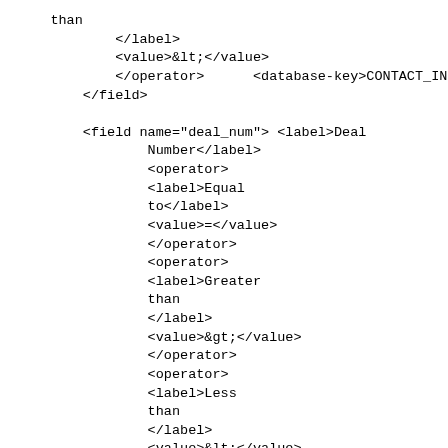than
            </label>
            <value>&lt;</value>
            </operator>      <database-key>CONTACT_INFO</da
        </field>

        <field name="deal_num"> <label>Deal
                Number</label>
                <operator>
                <label>Equal
                to</label>
                <value>=</value>
                </operator>
                <operator>
                <label>Greater
                than
                </label>
                <value>&gt;</value>
                </operator>
                <operator>
                <label>Less
                than
                </label>
                <value>&lt;</value>
                </operator>      <database-key>DEAL_INFO</datab
        </field>
    </app>
</app-search>